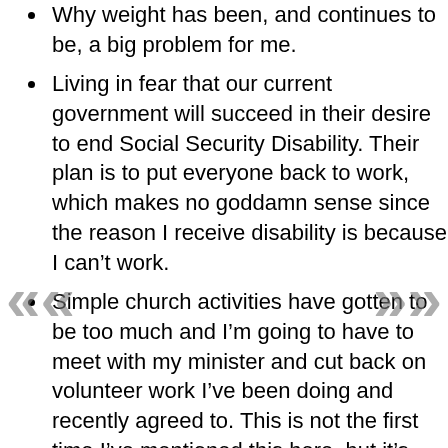Why weight has been, and continues to be, a big problem for me.
Living in fear that our current government will succeed in their desire to end Social Security Disability. Their plan is to put everyone back to work, which makes no goddamn sense since the reason I receive disability is because I can't work.
Simple church activities have gotten to be too much and I'm going to have to meet with my minister and cut back on volunteer work I've been doing and recently agreed to. This is not the first time I've mentioned this here, but it's reached the point that I can't ignore it.
I continue to grow more disillusioned with my country every day, and I'm frustrated I can't just leave.
I still freak out if I have three or more things scheduled during a week and lately I've been regularly having more than three.